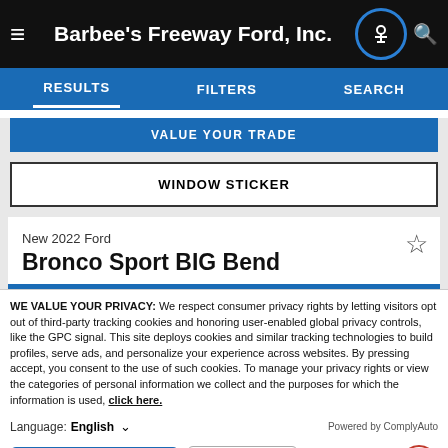Barbee's Freeway Ford, Inc.
RESULTS    FILTERS    SEARCH
VALUE YOUR TRADE
WINDOW STICKER
New 2022 Ford
Bronco Sport BIG Bend
WE VALUE YOUR PRIVACY: We respect consumer privacy rights by letting visitors opt out of third-party tracking cookies and honoring user-enabled global privacy controls, like the GPC signal. This site deploys cookies and similar tracking technologies to build profiles, serve ads, and personalize your experience across websites. By pressing accept, you consent to the use of such cookies. To manage your privacy rights or view the categories of personal information we collect and the purposes for which the information is used, click here.
Language: English
Powered by ComplyAuto
Accept and Continue →
Privacy Policy